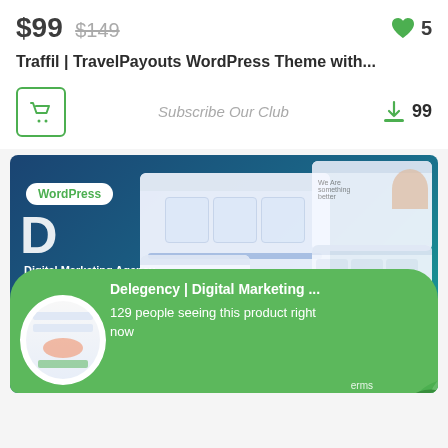$99  $149
5
Traffil | TravelPayouts WordPress Theme with...
Subscribe Our Club
99
[Figure (screenshot): WordPress theme preview showing Digital Marketing Agency WordPress Theme with multiple page layouts on blue/teal background. Shows a theme preview collage with multiple mockup screens.]
Delegency | Digital Marketing ...
129 people seeing this product right now